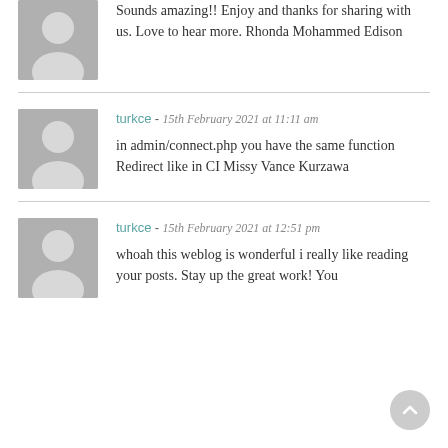Sounds amazing!! Enjoy and thanks for sharing with us. Love to hear more. Rhonda Mohammed Edison
turkce - 15th February 2021 at 11:11 am
in admin/connect.php you have the same function Redirect like in CI Missy Vance Kurzawa
turkce - 15th February 2021 at 12:51 pm
whoah this weblog is wonderful i really like reading your posts. Stay up the great work! You